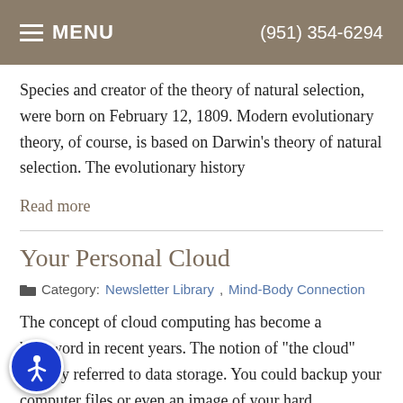MENU  (951) 354-6294
Species and creator of the theory of natural selection, were born on February 12, 1809. Modern evolutionary theory, of course, is based on Darwin's theory of natural selection. The evolutionary history
Read more
Your Personal Cloud
Category: Newsletter Library, Mind-Body Connection
The concept of cloud computing has become a buzzword in recent years. The notion of "the cloud" iginally referred to data storage. You could backup your computer files or even an image of your hard